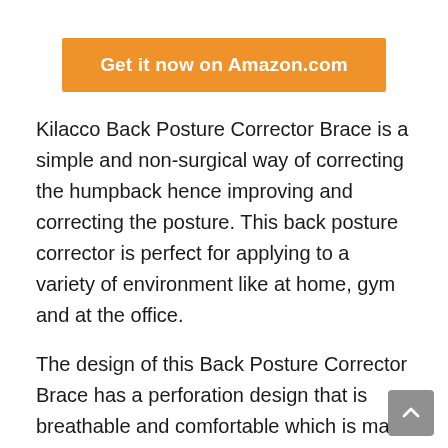Get it now on Amazon.com
Kilacco Back Posture Corrector Brace is a simple and non-surgical way of correcting the humpback hence improving and correcting the posture. This back posture corrector is perfect for applying to a variety of environment like at home, gym and at the office.
The design of this Back Posture Corrector Brace has a perforation design that is breathable and comfortable which is made